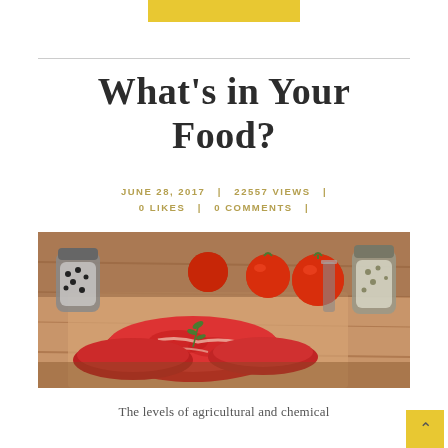What's in Your Food?
JUNE 28, 2017 | 22557 VIEWS | 0 LIKES | 0 COMMENTS |
[Figure (photo): Raw red meat steaks on a wooden cutting board with tomatoes, black pepper in a jar, and herbs in the background]
The levels of agricultural and chemical